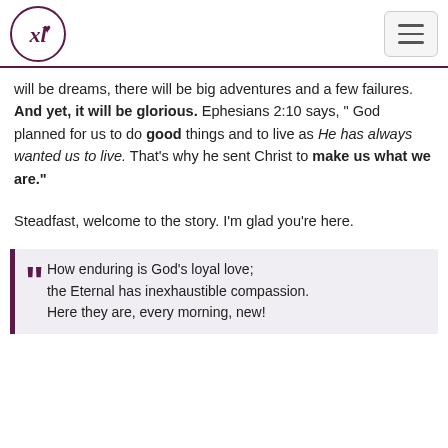[Figure (logo): XL logo in a circle with purple border, cursive XL letters in purple]
will be dreams, there will be big adventures and a few failures. And yet, it will be glorious. Ephesians 2:10 says, " God planned for us to do good things and to live as He has always wanted us to live. That's why he sent Christ to make us what we are."
Steadfast, welcome to the story. I'm glad you're here.
““ How enduring is God’s loyal love; the Eternal has inexhaustible compassion. Here they are, every morning, new!